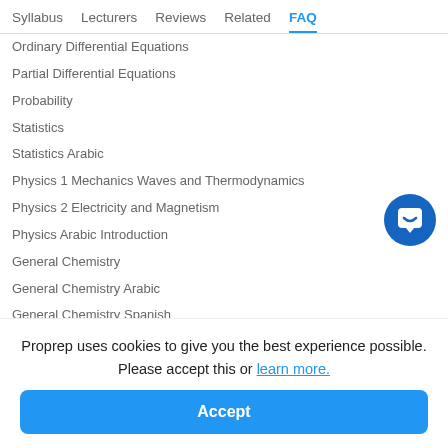Syllabus  Lecturers  Reviews  Related  FAQ
Ordinary Differential Equations
Partial Differential Equations
Probability
Statistics
Statistics Arabic
Physics 1 Mechanics Waves and Thermodynamics
Physics 2 Electricity and Magnetism
Physics Arabic Introduction
General Chemistry
General Chemistry Arabic
General Chemistry Spanish
[Figure (illustration): Blue circular chat/messaging icon with white speech bubble]
Proprep uses cookies to give you the best experience possible. Please accept this or learn more.
Accept